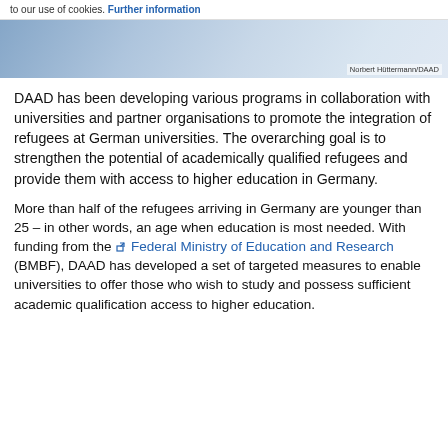to our use of cookies. Further information
[Figure (photo): Photo of hands on a desk/paper, likely a study or writing scene. Credit: Norbert Hüttermann/DAAD]
DAAD has been developing various programs in collaboration with universities and partner organisations to promote the integration of refugees at German universities. The overarching goal is to strengthen the potential of academically qualified refugees and provide them with access to higher education in Germany.
More than half of the refugees arriving in Germany are younger than 25 – in other words, an age when education is most needed. With funding from the Federal Ministry of Education and Research (BMBF), DAAD has developed a set of targeted measures to enable universities to offer those who wish to study and possess sufficient academic qualification access to higher education.